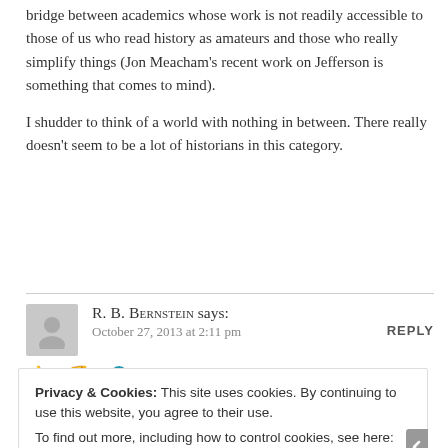bridge between academics whose work is not readily accessible to those of us who read history as amateurs and those who really simplify things (Jon Meacham’s recent work on Jefferson is something that comes to mind).
I shudder to think of a world with nothing in between. There really doesn’t seem to be a lot of historians in this category.
R. B. Bernstein says: October 27, 2013 at 2:11 pm
👍 1 👎 0 Ⓘ Rate This
Privacy & Cookies: This site uses cookies. By continuing to use this website, you agree to their use.
To find out more, including how to control cookies, see here: Cookie Policy